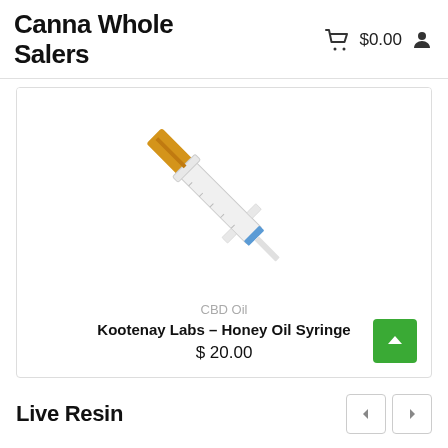Canna Whole Salers  $0.00
[Figure (photo): A medical syringe with an orange/gold plunger and white barrel, shown diagonally on a white background, representing Kootenay Labs Honey Oil Syringe product.]
CBD Oil
Kootenay Labs – Honey Oil Syringe
$ 20.00
Live Resin